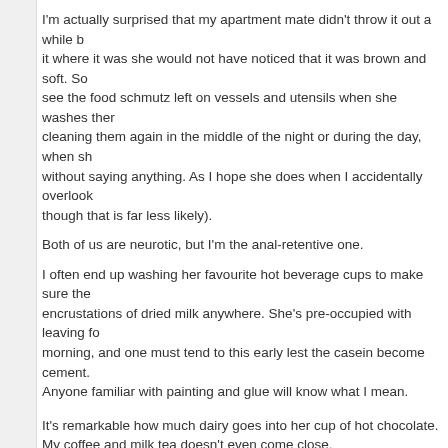I'm actually surprised that my apartment mate didn't throw it out a while b... it where it was she would not have noticed that it was brown and soft. So... see the food schmutz left on vessels and utensils when she washes the... cleaning them again in the middle of the night or during the day, when sh... without saying anything. As I hope she does when I accidentally overlook... though that is far less likely).
Both of us are neurotic, but I'm the anal-retentive one.
I often end up washing her favourite hot beverage cups to make sure the... encrustations of dried milk anywhere. She's pre-occupied with leaving fo... morning, and one must tend to this early lest the casein become cement... Anyone familiar with painting and glue will know what I mean.
It's remarkable how much dairy goes into her cup of hot chocolate.
My coffee and milk tea doesn't even come close.
========================================
NOTE: Readers may contact me directly:
LETTER BOX.
All correspondence will be kept in confidence.